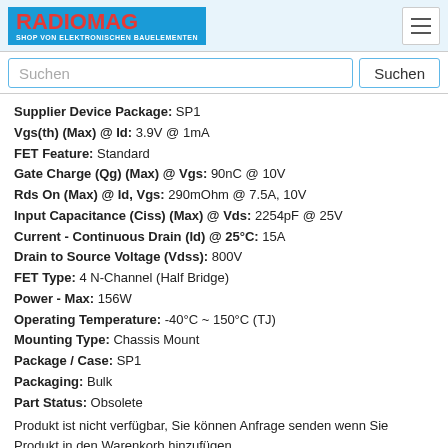RADIOMAG - SHOP VON ELEKTRONISCHEN BAUELEMENTEN
Suchen
Supplier Device Package: SP1
Vgs(th) (Max) @ Id: 3.9V @ 1mA
FET Feature: Standard
Gate Charge (Qg) (Max) @ Vgs: 90nC @ 10V
Rds On (Max) @ Id, Vgs: 290mOhm @ 7.5A, 10V
Input Capacitance (Ciss) (Max) @ Vds: 2254pF @ 25V
Current - Continuous Drain (Id) @ 25°C: 15A
Drain to Source Voltage (Vdss): 800V
FET Type: 4 N-Channel (Half Bridge)
Power - Max: 156W
Operating Temperature: -40°C ~ 150°C (TJ)
Mounting Type: Chassis Mount
Package / Case: SP1
Packaging: Bulk
Part Status: Obsolete
Produkt ist nicht verfügbar, Sie können Anfrage senden wenn Sie Produkt in den Warenkorb hinzufügen